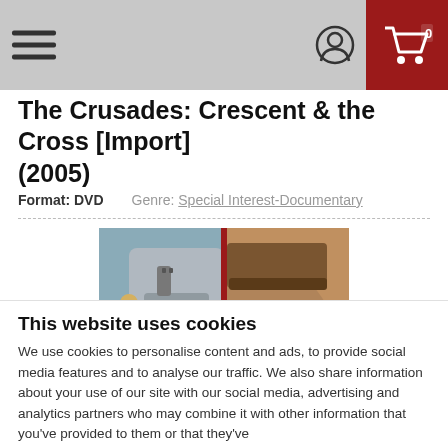Navigation header with hamburger menu, user icon, and shopping cart
The Crusades: Crescent & the Cross [Import] (2005)
Format: DVD    Genre: Special Interest-Documentary
[Figure (photo): Split-face composite image showing a medieval Crusader warrior on the left (silver helmet, blue eyes, fair complexion) and a Saracen warrior on the right (head wrap, darker complexion), divided by a red vertical line — promotional artwork for the documentary.]
This website uses cookies
We use cookies to personalise content and ads, to provide social media features and to analyse our traffic. We also share information about your use of our site with our social media, advertising and analytics partners who may combine it with other information that you've provided to them or that they've